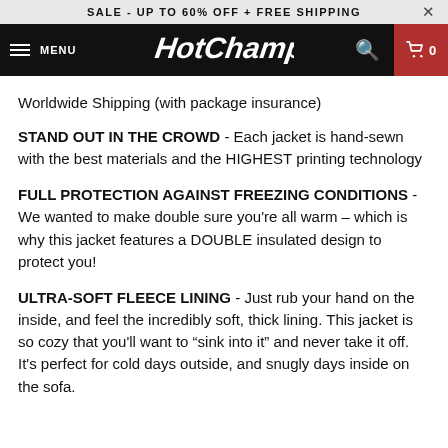SALE - UP TO 60% OFF + FREE SHIPPING
[Figure (screenshot): HotChamps website navigation bar with hamburger menu, logo, search icon, and cart showing 0 items]
Worldwide Shipping (with package insurance)
STAND OUT IN THE CROWD - Each jacket is hand-sewn with the best materials and the HIGHEST printing technology
FULL PROTECTION AGAINST FREEZING CONDITIONS - We wanted to make double sure you’re all warm – which is why this jacket features a DOUBLE insulated design to protect you!
ULTRA-SOFT FLEECE LINING - Just rub your hand on the inside, and feel the incredibly soft, thick lining. This jacket is so cozy that you’ll want to “sink into it” and never take it off. It’s perfect for cold days outside, and snugly days inside on the sofa.